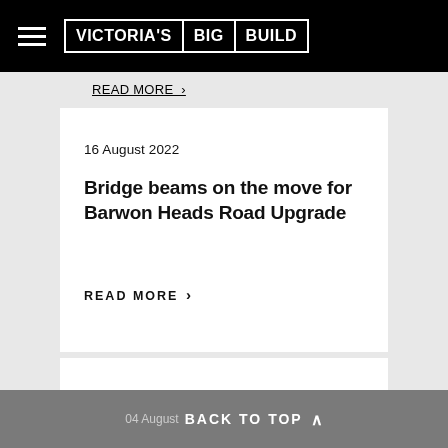VICTORIA'S BIG BUILD
READ MORE
16 August 2022
Bridge beams on the move for Barwon Heads Road Upgrade
READ MORE
04 August  BACK TO TOP